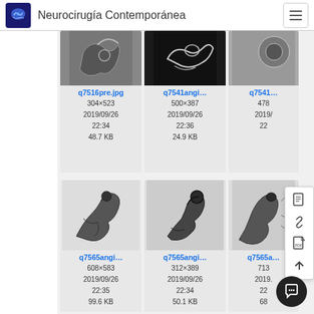Neurocirugía Contemporánea
[Figure (screenshot): Website screenshot showing a medical image file browser for 'Neurocirugía Contemporánea' with thumbnail grid of angiography images. Top row shows q7516pre.jpg (304×523, 2019/09/26 22:34, 48.7 KB), q7541angi... (500×387, 2019/09/26 22:36, 24.9 KB), q7541... (478×..., 2019/...). Bottom row shows q7565angi... (608×583, 2019/09/26 22:35, 99.6 KB), q7565angi... (312×389, 2019/09/26 22:34, 50.1 KB), q7565a... (713×..., 2019/..., 68...). A floating toolbar with document/link/PDF/up icons and a chat bubble are overlaid.]